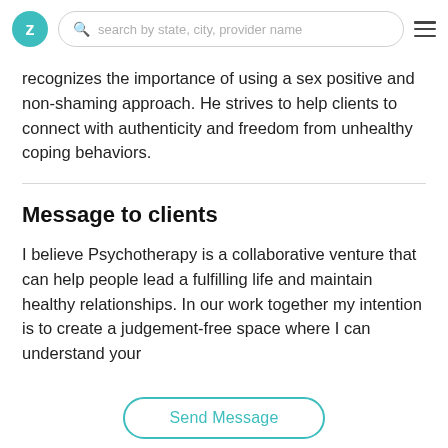Z | search by state, city, provider name | menu
recognizes the importance of using a sex positive and non-shaming approach. He strives to help clients to connect with authenticity and freedom from unhealthy coping behaviors.
Message to clients
I believe Psychotherapy is a collaborative venture that can help people lead a fulfilling life and maintain healthy relationships. In our work together my intention is to create a judgement-free space where I can understand your
Send Message